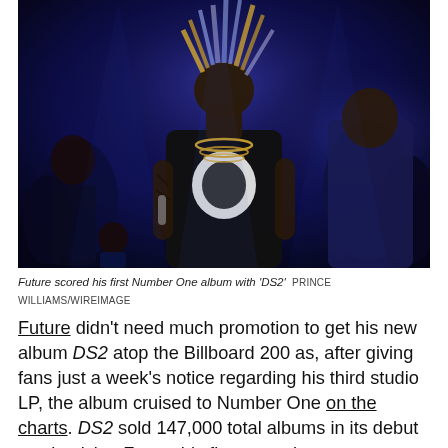[Figure (photo): A performer (Future) on stage, wearing a black graphic t-shirt and gold chains, with dreadlocks. He stands under blue stage lighting with an audience visible behind him and another person to his right.]
Future scored his first Number One album with 'DS2'  PRINCE WILLIAMS/WIREIMAGE
Future didn't need much promotion to get his new album DS2 atop the Billboard 200 as, after giving fans just a week's notice regarding his third studio LP, the album cruised to Number One on the charts. DS2 sold 147,000 total albums in its debut week, giving Future his first ever chart-topper, Billboard reports.